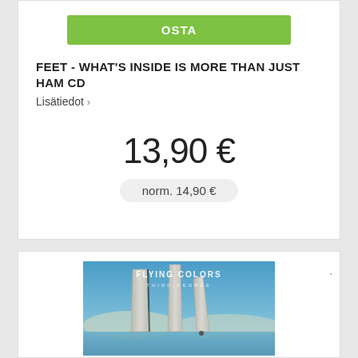OSTA
FEET - WHAT'S INSIDE IS MORE THAN JUST HAM CD
Lisätiedot ›
13,90 €
norm. 14,90 €
[Figure (photo): Album cover for Flying Colors – Third Degree, showing three tall concrete monolith pillars standing in a shallow reflective body of water with a desert/mountain landscape background and blue sky. The text 'FLYING COLORS' and 'THIRD DEGREE' appears at the top.]